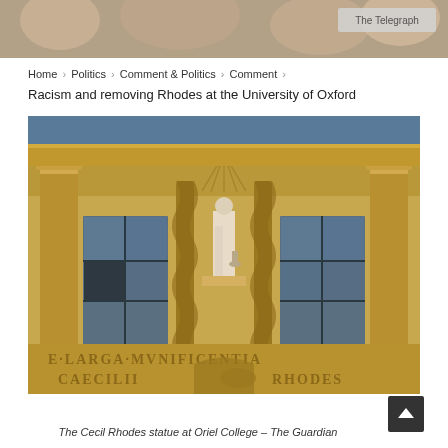The Telegraph
Home > Politics > Comment & Politics > Comment > Racism and removing Rhodes at the University of Oxford
[Figure (photo): The Cecil Rhodes statue at Oriel College, Oxford. A stone building facade with classical columns and a statue of Cecil Rhodes in a niche above an ornate entrance. Inscription reads 'LARGA MVNIFICENTIA CAECILII RHODES'.]
The Cecil Rhodes statue at Oriel College – The Guardian